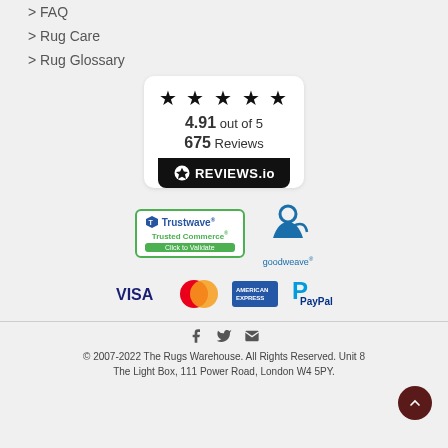> FAQ
> Rug Care
> Rug Glossary
[Figure (logo): Reviews.io widget showing 5 stars, 4.91 out of 5, 675 Reviews]
[Figure (logo): Trustwave Trusted Commerce Click to Validate badge]
[Figure (logo): GoodWeave logo]
[Figure (logo): Payment logos: VISA, MasterCard, American Express, PayPal]
© 2007-2022 The Rugs Warehouse. All Rights Reserved. Unit 8 The Light Box, 111 Power Road, London W4 5PY.